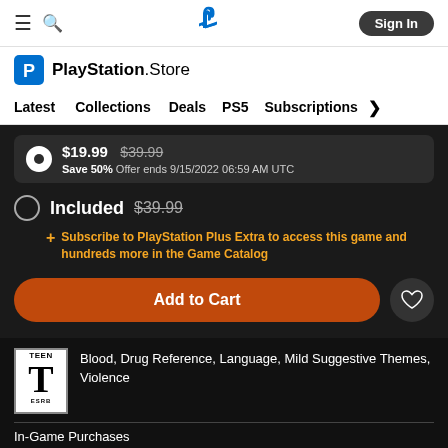PlayStation Store navigation bar with hamburger menu, search, PS logo, Sign In button
[Figure (logo): PlayStation Store logo with shopping bag icon]
Latest  Collections  Deals  PS5  Subscriptions >
$19.99  $39.99  Save 50%  Offer ends 9/15/2022 06:59 AM UTC
Included  $39.99
Subscribe to PlayStation Plus Extra to access this game and hundreds more in the Game Catalog
Add to Cart
Blood, Drug Reference, Language, Mild Suggestive Themes, Violence
In-Game Purchases